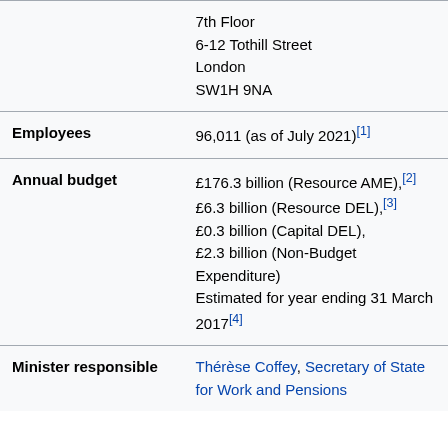| Field | Value |
| --- | --- |
|  | 7th Floor
6-12 Tothill Street
London
SW1H 9NA |
| Employees | 96,011 (as of July 2021)[1] |
| Annual budget | £176.3 billion (Resource AME),[2]
£6.3 billion (Resource DEL),[3]
£0.3 billion (Capital DEL),
£2.3 billion (Non-Budget Expenditure)
Estimated for year ending 31 March 2017[4] |
| Minister responsible | Thérèse Coffey, Secretary of State for Work and Pensions |